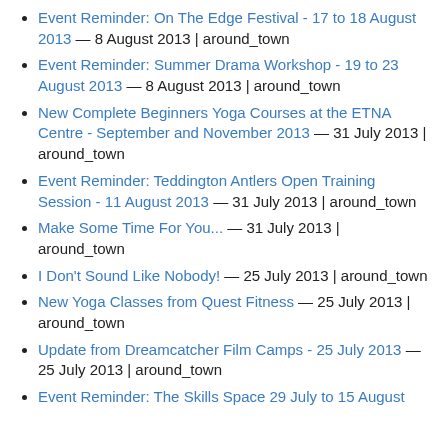Event Reminder: On The Edge Festival - 17 to 18 August 2013 — 8 August 2013 | around_town
Event Reminder: Summer Drama Workshop - 19 to 23 August 2013 — 8 August 2013 | around_town
New Complete Beginners Yoga Courses at the ETNA Centre - September and November 2013 — 31 July 2013 | around_town
Event Reminder: Teddington Antlers Open Training Session - 11 August 2013 — 31 July 2013 | around_town
Make Some Time For You... — 31 July 2013 | around_town
I Don't Sound Like Nobody! — 25 July 2013 | around_town
New Yoga Classes from Quest Fitness — 25 July 2013 | around_town
Update from Dreamcatcher Film Camps - 25 July 2013 — 25 July 2013 | around_town
Event Reminder: The Skills Space 29 July to 15 August